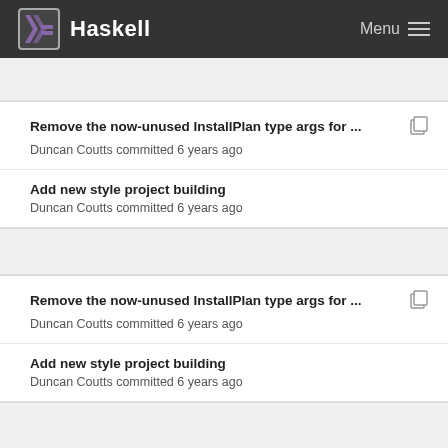Haskell  Menu
Remove the now-unused InstallPlan type args for ...
Duncan Coutts committed 6 years ago
Add new style project building
Duncan Coutts committed 6 years ago
Remove the now-unused InstallPlan type args for ...
Duncan Coutts committed 6 years ago
Add new style project building
Duncan Coutts committed 6 years ago
Remove the now-unused InstallPlan type args for ...